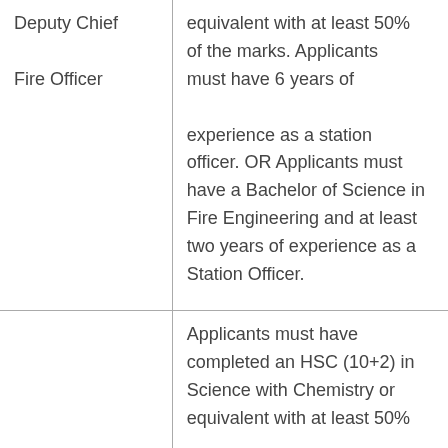| Deputy Chief Fire Officer | equivalent with at least 50% of the marks. Applicants must have 6 years of experience as a station officer. OR Applicants must have a Bachelor of Science in Fire Engineering and at least two years of experience as a Station Officer. |
|  | Applicants must have completed an HSC (10+2) in Science with Chemistry or equivalent with at least 50% |